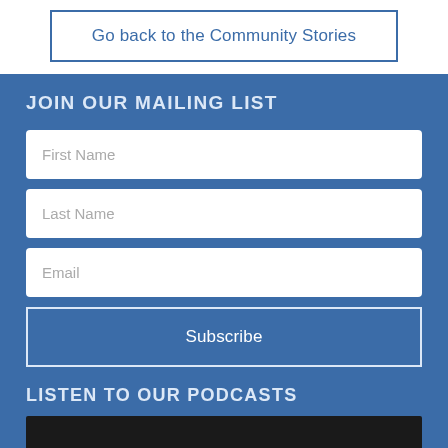Go back to the Community Stories
JOIN OUR MAILING LIST
First Name
Last Name
Email
Subscribe
LISTEN TO OUR PODCASTS